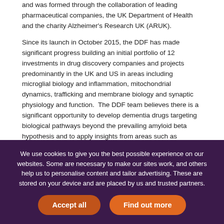and was formed through the collaboration of leading pharmaceutical companies, the UK Department of Health and the charity Alzheimer's Research UK (ARUK).
Since its launch in October 2015, the DDF has made significant progress building an initial portfolio of 12 investments in drug discovery companies and projects predominantly in the UK and US in areas including microglial biology and inflammation, mitochondrial dynamics, trafficking and membrane biology and synaptic physiology and function. The DDF team believes there is a significant opportunity to develop dementia drugs targeting biological pathways beyond the prevailing amyloid beta hypothesis and to apply insights from areas such as oncology and immunology to develop novel drugs targeting these other biological pathways that may drive different forms of dementia.
We use cookies to give you the best possible experience on our websites. Some are necessary to make our sites work, and others help us to personalise content and tailor advertising. These are stored on your device and are placed by us and trusted partners.